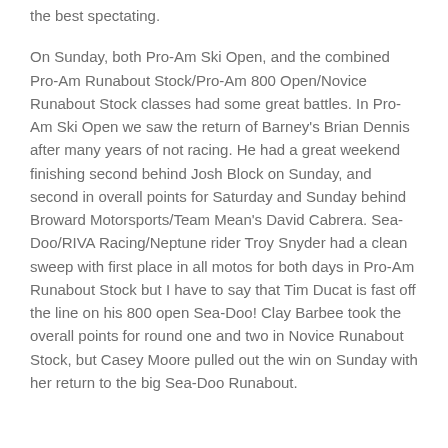the best spectating.
On Sunday, both Pro-Am Ski Open, and the combined Pro-Am Runabout Stock/Pro-Am 800 Open/Novice Runabout Stock classes had some great battles. In Pro-Am Ski Open we saw the return of Barney's Brian Dennis after many years of not racing. He had a great weekend finishing second behind Josh Block on Sunday, and second in overall points for Saturday and Sunday behind Broward Motorsports/Team Mean's David Cabrera. Sea-Doo/RIVA Racing/Neptune rider Troy Snyder had a clean sweep with first place in all motos for both days in Pro-Am Runabout Stock but I have to say that Tim Ducat is fast off the line on his 800 open Sea-Doo! Clay Barbee took the overall points for round one and two in Novice Runabout Stock, but Casey Moore pulled out the win on Sunday with her return to the big Sea-Doo Runabout.